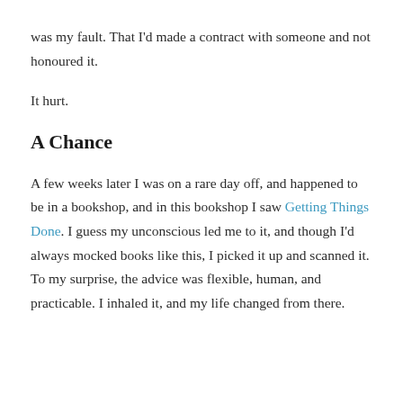was my fault. That I'd made a contract with someone and not honoured it.
It hurt.
A Chance
A few weeks later I was on a rare day off, and happened to be in a bookshop, and in this bookshop I saw Getting Things Done. I guess my unconscious led me to it, and though I'd always mocked books like this, I picked it up and scanned it. To my surprise, the advice was flexible, human, and practicable. I inhaled it, and my life changed from there.